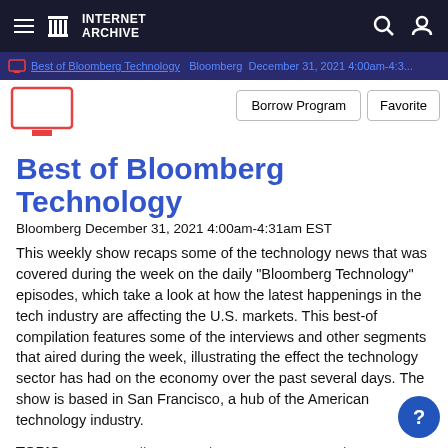Internet Archive navigation bar with hamburger menu, logo, search and user icons
Best of Bloomberg Technology | Bloomberg | December 31, 2021 4:00am-4:3...
Borrow Program   Favorite
Best of Bloomberg Technology
Bloomberg December 31, 2021 4:00am-4:31am EST
This weekly show recaps some of the technology news that was covered during the week on the daily "Bloomberg Technology" episodes, which take a look at how the latest happenings in the tech industry are affecting the U.S. markets. This best-of compilation features some of the interviews and other segments that aired during the week, illustrating the effect the technology sector has had on the economy over the past several days. The show is based in San Francisco, a hub of the American technology industry.
TOPIC FREQUENCY   Emily 12, Qualcomm 6, Us 3, Russia 3, Bloomberg 3, Ukraine 2, Vladimir Putin 2, U.s. 2, Cdo Tom Caulfield 2, Emily Chang 2, Biden 2, China 2, Singapore 1